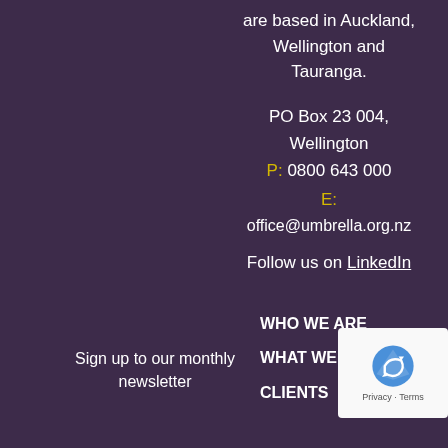are based in Auckland, Wellington and Tauranga.
PO Box 23 004, Wellington
P: 0800 643 000
E:
office@umbrella.org.nz
Follow us on LinkedIn
Sign up to our monthly newsletter
WHO WE ARE
WHAT WE DO
CLIENTS